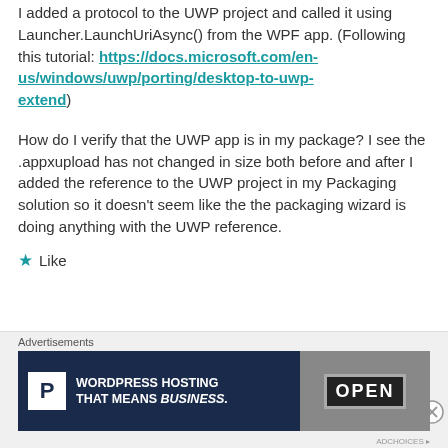I added a protocol to the UWP project and called it using Launcher.LaunchUriAsync() from the WPF app. (Following this tutorial: https://docs.microsoft.com/en-us/windows/uwp/porting/desktop-to-uwp-extend)
How do I verify that the UWP app is in my package? I see the .appxupload has not changed in size both before and after I added the reference to the UWP project in my Packaging solution so it doesn't seem like the the packaging wizard is doing anything with the UWP reference.
★ Like
Advertisements
[Figure (other): Advertisement banner for WordPress Hosting with a P logo on the left and an OPEN sign photo on the right. Text reads: WORDPRESS HOSTING THAT MEANS BUSINESS.]